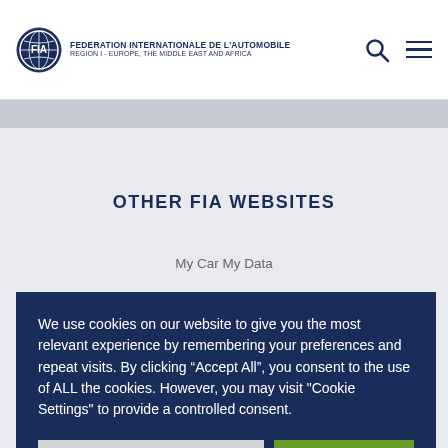FEDERATION INTERNATIONALE DE L'AUTOMOBILE REGION I - EUROPE, THE MIDDLE EAST AND AFRICA
OTHER FIA WEBSITES
My Car My Data
We use cookies on our website to give you the most relevant experience by remembering your preferences and repeat visits. By clicking “Accept All”, you consent to the use of ALL the cookies. However, you may visit "Cookie Settings" to provide a controlled consent.